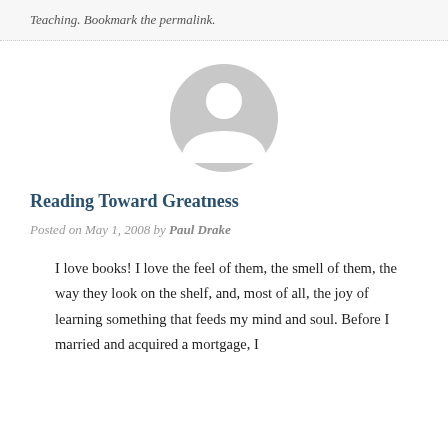Teaching. Bookmark the permalink.
[Figure (illustration): Generic gray avatar/profile silhouette icon — a circle with a person outline inside, light gray color on white background]
Reading Toward Greatness
Posted on May 1, 2008 by Paul Drake
I love books! I love the feel of them, the smell of them, the way they look on the shelf, and, most of all, the joy of learning something that feeds my mind and soul. Before I married and acquired a mortgage, I